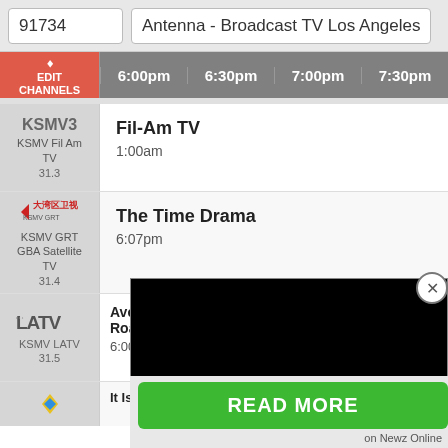91734
Antenna - Broadcast TV Los Angeles
EDIT CHANNELS
6:00pm  6:30pm  7:00pm  7:30pm
KSMV3
KSMV Fil Am TV
31.3
Fil-Am TV
1:00am
KSMV GRT GBA Satellite TV
31.4
The Time Drama
6:07pm
KSMV LATV
31.5
Aventura Road
6:00
The R... with
7:00pm
READ MORE
on Newz Online
It Is...  Inverse...  Go Healthy For God...